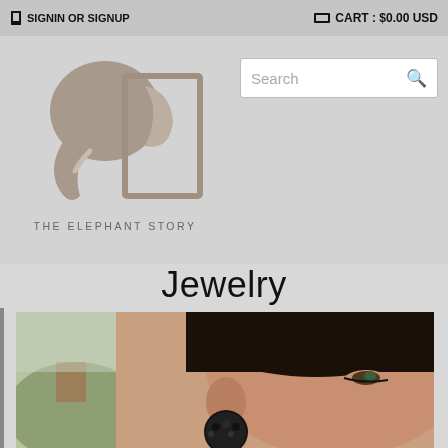SIGNIN OR SIGNUP   CART : $0.00 USD
[Figure (logo): The Elephant Story logo — stylized elephant illustration in taupe/gray with text THE ELEPHANT STORY below]
[Figure (screenshot): Search bar input field with placeholder text 'Search' and magnifying glass icon]
Jewelry
[Figure (photo): Close-up photo of a woman's face and ear wearing large black beaded/crystal dangle earrings, short dark hair, green/grey eyes, outdoor blurred background]